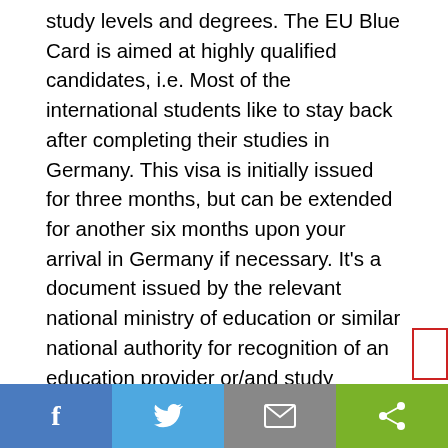study levels and degrees. The EU Blue Card is aimed at highly qualified candidates, i.e. Most of the international students like to stay back after completing their studies in Germany. This visa is initially issued for three months, but can be extended for another six months upon your arrival in Germany if necessary. It's a document issued by the relevant national ministry of education or similar national authority for recognition of an education provider or/and study program. The Most Common Reasons That Could Get Your German Student Visa Rejected, Working as a Freelancer in Germany from A to Z. 8 Steps to Study in GermanyHow To Apply To Study in GermanyGerman Education SystemRequirementsUniversities in